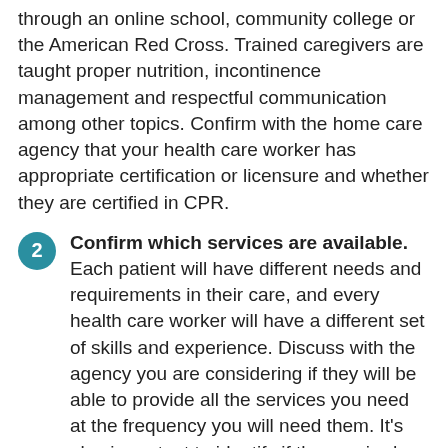completed a minimum of eight hours of training through an online school, community college or the American Red Cross. Trained caregivers are taught proper nutrition, incontinence management and respectful communication among other topics. Confirm with the home care agency that your health care worker has appropriate certification or licensure and whether they are certified in CPR.
2. Confirm which services are available. Each patient will have different needs and requirements in their care, and every health care worker will have a different set of skills and experience. Discuss with the agency you are considering if they will be able to provide all the services you need at the frequency you will need them. It's also important to identify if the required services are available in your area and during times you may need them without notice.
3. Finalize cost details beforehand. You will need to